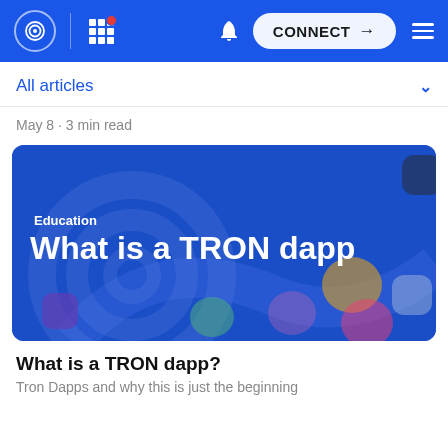CONNECT navigation bar with logo, grid, bell, CONNECT button, menu
All articles
May 8 · 3 min read
[Figure (illustration): Blue banner image with text 'Education' and 'What is a TRON dapp', with blurred app icons in background and TRON logo watermark]
What is a TRON dapp?
Tron Dapps and why this is just the beginning